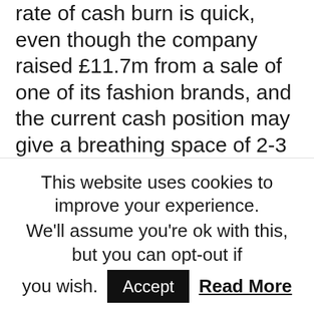rate of cash burn is quick, even though the company raised £11.7m from a sale of one of its fashion brands, and the current cash position may give a breathing space of 2-3 years. Alternatively, if trade picks up and the expensive leases drop off, the company may emerge from the other side free from the shackles.
So for now, the liquidity position appears fine: there are many more assets than liabilities. Having negligible intangibles on the balance sheet, the tangible asset position is positive and in line with the
This website uses cookies to improve your experience. We'll assume you're ok with this, but you can opt-out if you wish. Accept Read More